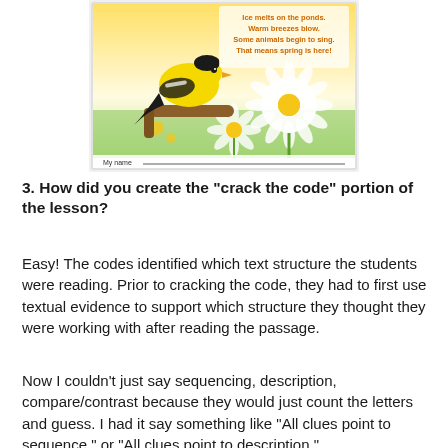[Figure (illustration): A children's book cover or page showing a yellow goldfinch bird perched on a branch surrounded by white daisies and yellow flowers in a spring scene. Text on the image reads: 'Ice melts on the ponds. Warm breezes blow. Some animals begin to sing. That means spring is here!' At the bottom: 'My name ___']
3. How did you create the "crack the code" portion of the lesson?
Easy! The codes identified which text structure the students were reading. Prior to cracking the code, they had to first use textual evidence to support which structure they thought they were working with after reading the passage.
Now I couldn't just say sequencing, description, compare/contrast because they would just count the letters and guess. I had it say something like "All clues point to sequence." or "All clues point to description."